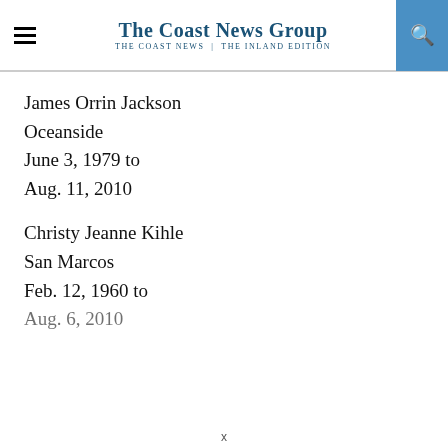The Coast News Group | The Coast News | The Inland Edition
James Orrin Jackson
Oceanside
June 3, 1979 to
Aug. 11, 2010
Christy Jeanne Kihle
San Marcos
Feb. 12, 1960 to
Aug. 6, 2010